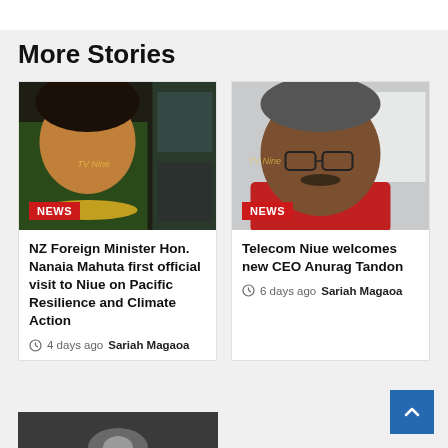More Stories
[Figure (photo): Photo of NZ Foreign Minister Hon. Nanaia Mahuta with a lei, laughing, with TV Niue watermark and a NEWS badge]
NZ Foreign Minister Hon. Nanaia Mahuta first official visit to Niue on Pacific Resilience and Climate Action
4 days ago  Sariah Magaoa
[Figure (photo): Photo of Anurag Tandon, new CEO of Telecom Niue, wearing glasses and a red shirt, with TV Niue watermark and a NEWS badge]
Telecom Niue welcomes new CEO Anurag Tandon
6 days ago  Sariah Magaoa
[Figure (photo): Partial thumbnail of a third story at bottom of page]